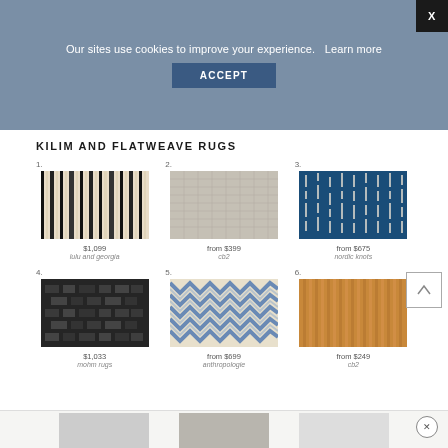Our sites use cookies to improve your experience.   Learn more
ACCEPT
KILIM AND FLATWEAVE RUGS
[Figure (photo): 1. Striped black and cream kilim rug - $1,099 - Lulu and Georgia]
[Figure (photo): 2. Gray flatweave rug - from $399 - cb2]
[Figure (photo): 3. Blue and white Nordic knots rug - from $675 - nordic knots]
[Figure (photo): 4. Dark charcoal flatweave rug - $1,033 - mohm rugs]
[Figure (photo): 5. Blue and cream zigzag rug - from $699 - anthropologie]
[Figure (photo): 6. Tan ribbed flatweave rug - from $249 - cb2]